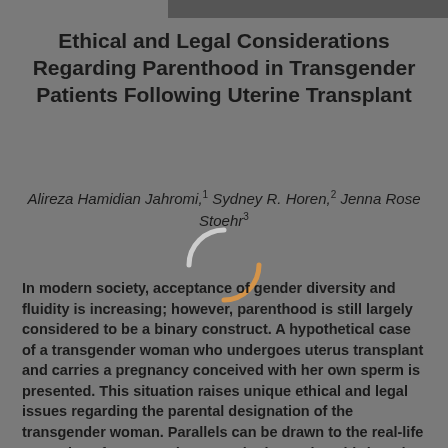Ethical and Legal Considerations Regarding Parenthood in Transgender Patients Following Uterine Transplant
Alireza Hamidian Jahromi,1 Sydney R. Horen,2 Jenna Rose Stoehr3
In modern society, acceptance of gender diversity and fluidity is increasing; however, parenthood is still largely considered to be a binary construct. A hypothetical case of a transgender woman who undergoes uterus transplant and carries a pregnancy conceived with her own sperm is presented. This situation raises unique ethical and legal issues regarding the parental designation of the transgender woman. Parallels can be drawn to the real-life examples of transgender men who have given birth and desire legal recognition as their child's father. Should “motherhood” and “fatherhood” be based on parental genetic contribution to the child? Should these labels be based on who has carried and gave birth to the child? Or